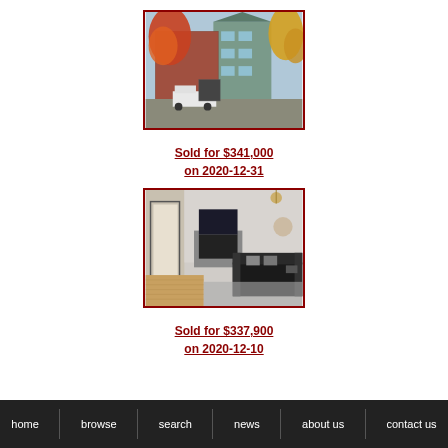[Figure (photo): Exterior photo of a multi-unit residential building with colorful autumn trees (red/orange foliage) and a parked white truck in front]
Sold for $341,000
on 2020-12-31
[Figure (photo): Interior photo of a living room with a fireplace, sofa, hardwood floors, and modern decor]
Sold for $337,900
on 2020-12-10
home | browse | search | news | about us | contact us